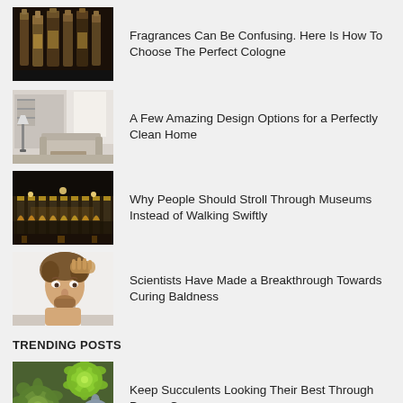[Figure (photo): Bottles of cologne/fragrance arranged in a row, dark background]
Fragrances Can Be Confusing. Here Is How To Choose The Perfect Cologne
[Figure (photo): Modern living room interior with clean white furniture and shelving]
A Few Amazing Design Options for a Perfectly Clean Home
[Figure (photo): Illuminated grand building/museum exterior at night with ornate columns]
Why People Should Stroll Through Museums Instead of Walking Swiftly
[Figure (photo): Man touching his hair, appearing concerned, shirtless on white background]
Scientists Have Made a Breakthrough Towards Curing Baldness
TRENDING POSTS
[Figure (photo): Close-up of colorful succulents plants in green and purple hues]
Keep Succulents Looking Their Best Through Proper Care